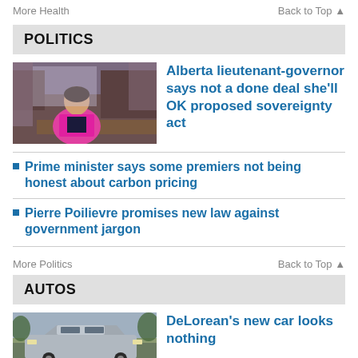More Health    Back to Top ▲
POLITICS
[Figure (photo): Woman in pink blazer standing in a formal room with wooden furniture and curtains]
Alberta lieutenant-governor says not a done deal she'll OK proposed sovereignty act
Prime minister says some premiers not being honest about carbon pricing
Pierre Poilievre promises new law against government jargon
More Politics    Back to Top ▲
AUTOS
[Figure (photo): DeLorean car outdoors]
DeLorean's new car looks nothing